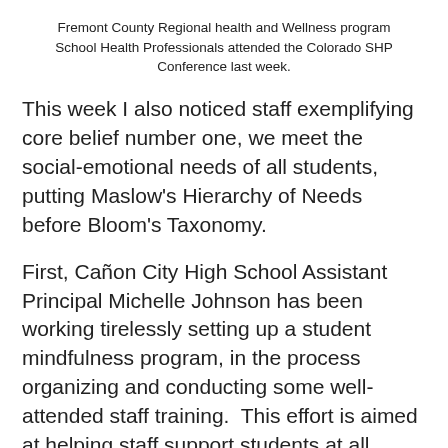Fremont County Regional health and Wellness program School Health Professionals attended the Colorado SHP Conference last week.
This week I also noticed staff exemplifying core belief number one, we meet the social-emotional needs of all students, putting Maslow's Hierarchy of Needs before Bloom's Taxonomy.
First, Cañon City High School Assistant Principal Michelle Johnson has been working tirelessly setting up a student mindfulness program, in the process organizing and conducting some well-attended staff training.  This effort is aimed at helping staff support students at all levels to take a step back, when they are stressed, to support better academic focus and behavior. Thank you for taking the lead on this Michelle.